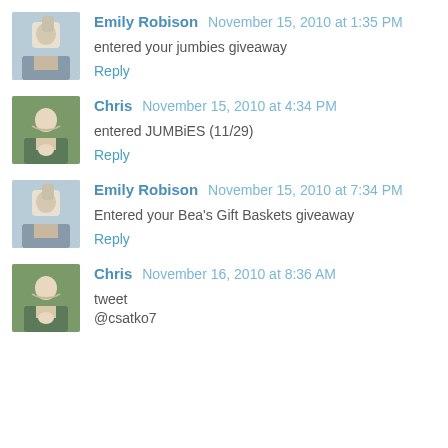Emily Robison November 15, 2010 at 1:35 PM
entered your jumbies giveaway
Reply
Chris November 15, 2010 at 4:34 PM
entered JUMBiES (11/29)
Reply
Emily Robison November 15, 2010 at 7:34 PM
Entered your Bea's Gift Baskets giveaway
Reply
Chris November 16, 2010 at 8:36 AM
tweet
@csatko7